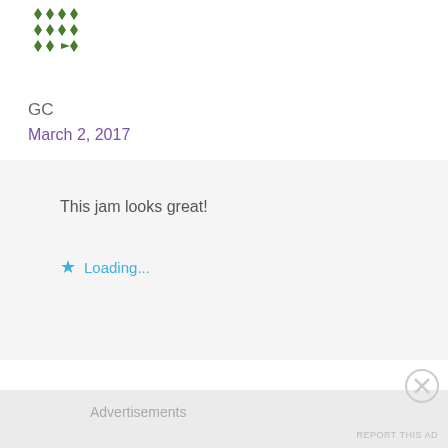[Figure (illustration): Green geometric diamond/arrow pattern avatar icon for user GC]
GC
March 2, 2017
This jam looks great!
Loading...
Reply
Advertisements
REPORT THIS AD